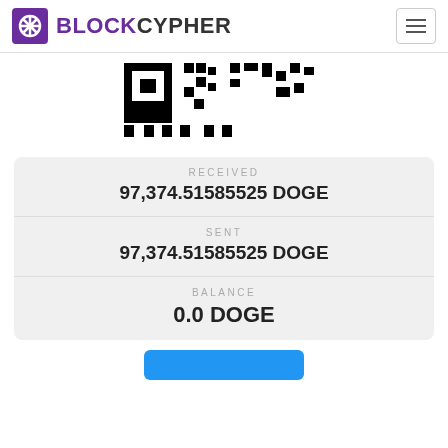BLOCKCYPHER
[Figure (other): Partial QR code image showing bottom portion of a QR code in black and white]
| RECEIVED | 97,374.51585525 DOGE |
| SENT | 97,374.51585525 DOGE |
| BALANCE | 0.0 DOGE |